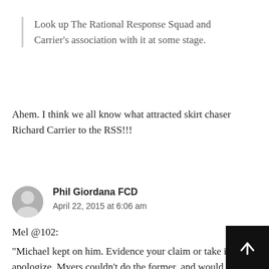Look up The Rational Response Squad and Carrier's association with it at some stage.
Ahem. I think we all know what attracted skirt chaser Richard Carrier to the RSS!!!
Phil Giordana FCD
April 22, 2015 at 6:06 am
Mel @102:
“Michael kept on him. Evidence your claim or take it back apologize. Myers couldn’t do the former, and would never latter, so he went silent (except for the racist jabs, but the man